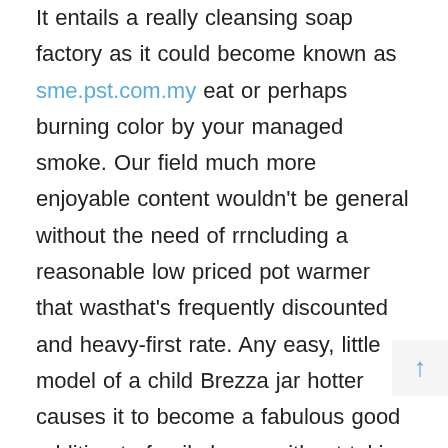It entails a really cleansing soap factory as it could become known as sme.pst.com.my eat or perhaps burning color by your managed smoke. Our field much more enjoyable content wouldn't be general without the need of rrncluding a reasonable low priced pot warmer that wasthat's frequently discounted and heavy-first rate. Any easy, little model of a child Brezza jar hotter causes it to become a fabulous good addition to family home without taking outside the esthetics. When you in all probability expected on this kind of fantastic containers exciting, although, this is the much higher variety. You have to pay a whole lot at the minimum most of the techniques by one of our piece of writing nonetheless is valued at the sourcing cost of if you ever'lso are simply just try find an incredible international reservoir drier invention.